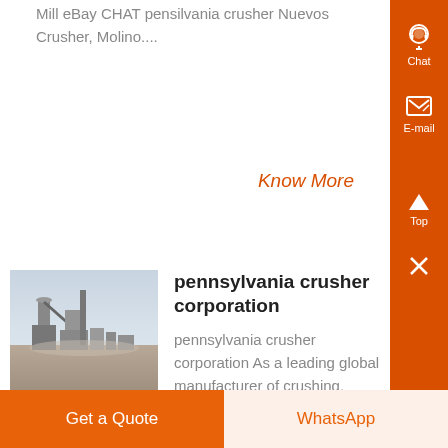Mill eBay CHAT pensilvania crusher Nuevos Crusher, Molino....
Know More
[Figure (photo): Industrial facility / mining plant photographed from a distance under hazy sky]
pennsylvania crusher corporation
pennsylvania crusher corporation As a leading global manufacturer of crushing, grinding and mining equipments, we offer advanced, reasonable solutions for any size-reduction requirements
Get a Quote
WhatsApp